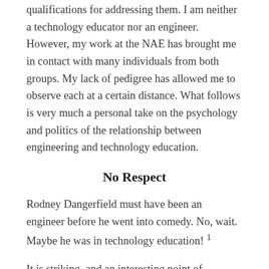qualifications for addressing them. I am neither a technology educator nor an engineer. However, my work at the NAE has brought me in contact with many individuals from both groups. My lack of pedigree has allowed me to observe each at a certain distance. What follows is very much a personal take on the psychology and politics of the relationship between engineering and technology education.
No Respect
Rodney Dangerfield must have been an engineer before he went into comedy. No, wait. Maybe he was in technology education! 1
It is striking, and an interesting point of departure for